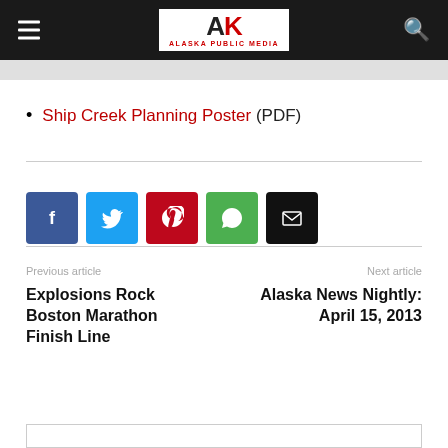Alaska Public Media
Ship Creek Planning Poster (PDF)
[Figure (infographic): Social sharing buttons: Facebook (blue), Twitter (cyan), Pinterest (red), WhatsApp (green), Email (black)]
Previous article
Explosions Rock Boston Marathon Finish Line
Next article
Alaska News Nightly: April 15, 2013